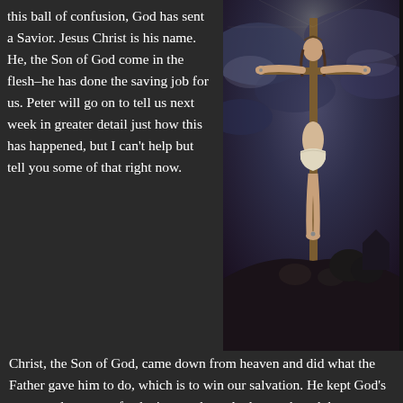this ball of confusion, God has sent a Savior. Jesus Christ is his name. He, the Son of God come in the flesh–he has done the saving job for us. Peter will go on to tell us next week in greater detail just how this has happened, but I can't help but tell you some of that right now.
[Figure (illustration): Painting of Jesus Christ crucified on the cross (El Greco style), with dramatic dark cloudy sky background, skull or rocks at the base.]
Christ, the Son of God, came down from heaven and did what the Father gave him to do, which is to win our salvation. He kept God's commandments perfectly, in our place. And even though he was sinless, Jesus took the judgment for our sins–again, in our place. He died on the cross for us, to gain our